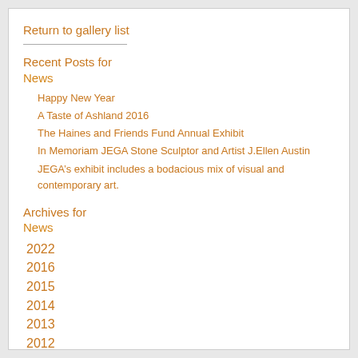Return to gallery list
Recent Posts for
News
Happy New Year
A Taste of Ashland 2016
The Haines and Friends Fund Annual Exhibit
In Memoriam JEGA Stone Sculptor and Artist J.Ellen Austin
JEGA’s exhibit includes a bodacious mix of visual and contemporary art.
Archives for
News
2022
2016
2015
2014
2013
2012
2011